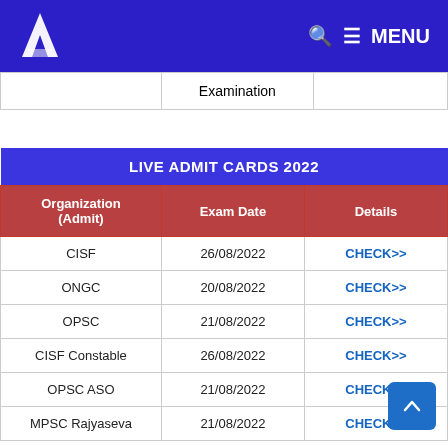A MENU
|  | Examination |  |
| --- | --- | --- |
| LIVE ADMIT CARDS 2022 |
| --- |
| Organization (Admit) | Exam Date | Details |
| CISF | 26/08/2022 | CHECK>> |
| ONGC | 20/08/2022 | CHECK>> |
| OPSC | 21/08/2022 | CHECK>> |
| CISF Constable | 26/08/2022 | CHECK>> |
| OPSC ASO | 21/08/2022 | CHECK>> |
| MPSC Rajyaseva | 21/08/2022 | CHECK>> |